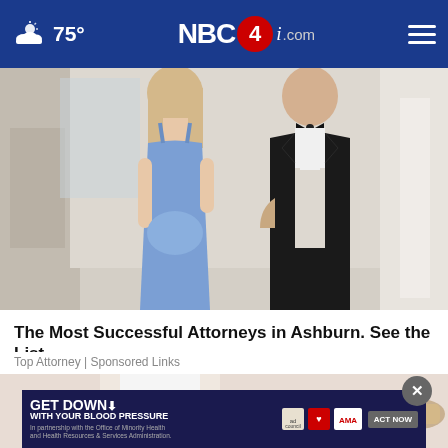75° NBC4i.com
[Figure (photo): Couple at formal event: woman in blue spaghetti-strap dress and man in black tuxedo]
The Most Successful Attorneys in Ashburn. See the List
Top Attorney | Sponsored Links
[Figure (photo): Partial view of person's lower body with white pants and sandals, with 'GET DOWN WITH YOUR BLOOD PRESSURE' advertisement overlay]
GET DOWN WITH YOUR BLOOD PRESSURE — In partnership with the Office of Minority Health and Health Resources & Services Administration. ACT NOW